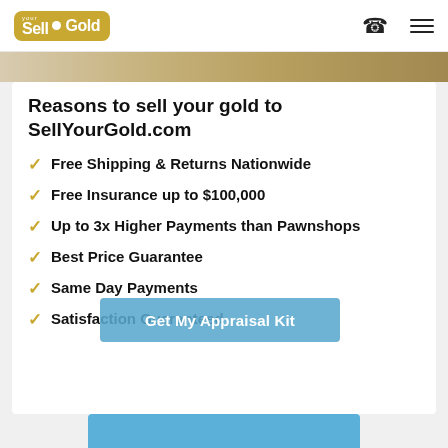Sell Your Gold - logo, phone icon, menu icon
[Figure (photo): Gold jewelry/items image strip at top of card]
Reasons to sell your gold to SellYourGold.com
Free Shipping & Returns Nationwide
Free Insurance up to $100,000
Up to 3x Higher Payments than Pawnshops
Best Price Guarantee
Same Day Payments
Satisfaction Guaranteed
[Figure (screenshot): Blue overlay button reading 'Get My Appraisal Kit']
[Figure (screenshot): Blue partial button at bottom of page]